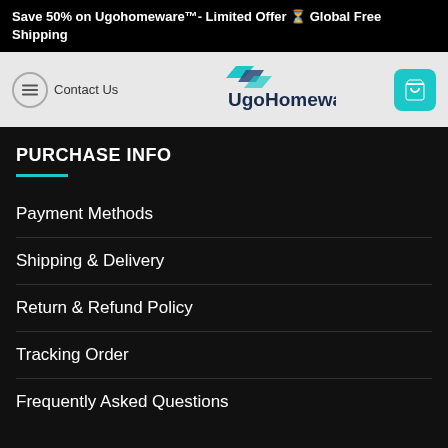Save 50% on Ugohomeware™- Limited Offer ⏳ Global Free Shipping
[Figure (logo): UgoHomeware logo with teal geometric shapes and dark blue/grey text reading 'UgoHomeware', alongside a hamburger menu icon, 'Contact Us' text, and a teal shopping cart button]
PURCHASE INFO
Payment Methods
Shipping & Delivery
Return & Refund Policy
Tracking Order
Frequently Asked Questions
SIGNUP & SAVE
Join our email list to get the latest information on new